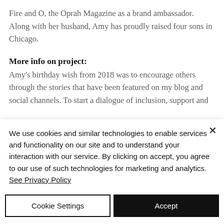Fire and O, the Oprah Magazine as a brand ambassador. Along with her husband, Amy has proudly raised four sons in Chicago.
More info on project:
Amy's birthday wish from 2018 was to encourage others through the stories that have been featured on my blog and social channels. To start a dialogue of inclusion, support and
We use cookies and similar technologies to enable services and functionality on our site and to understand your interaction with our service. By clicking on accept, you agree to our use of such technologies for marketing and analytics. See Privacy Policy